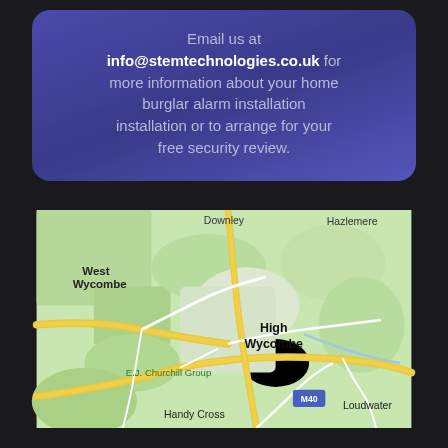Email us at info@stemtechnologies.co.uk for more information about your home burglar alarm installation installation or to arrange for your free security review.
[Figure (map): Google Maps view of the High Wycombe area in England showing West Wycombe, Downley, Hazlemere, High Wycombe, E.J. Churchill Group, Handy Cross, Loudwater, and the M40 motorway.]